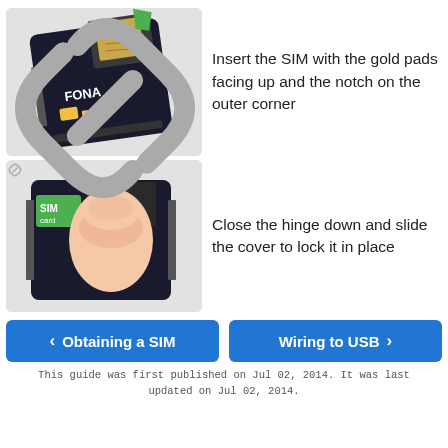[Figure (photo): Photo of FONA GSM module with SIM card being inserted, gold pads facing up, notch on outer corner. Circuit board labelled FONA visible.]
Insert the SIM with the gold pads facing up and the notch on the outer corner
[Figure (photo): Photo of FONA GSM module with a finger pressing down the SIM card hinge/cover to lock it in place.]
Close the hinge down and slide the cover to lock it in place
< Obtaining a SIM
Wiring to USB >
This guide was first published on Jul 02, 2014. It was last updated on Jul 02, 2014.